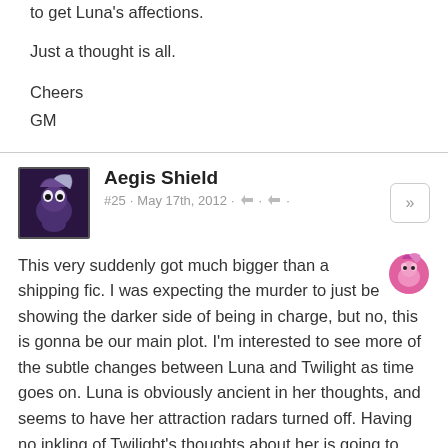to get Luna's affections.
Just a thought is all.
Cheers
GM
Aegis Shield
#25 · May 17th, 2012
This very suddenly got much bigger than a shipping fic. I was expecting the murder to just be showing the darker side of being in charge, but no, this is gonna be our main plot. I'm interested to see more of the subtle changes between Luna and Twilight as time goes on. Luna is obviously ancient in her thoughts, and seems to have her attraction radars turned off. Having no inkling of Twilight's thoughts about her is going to make for a very interesting reveal scene, not only in how she acts but how she handles